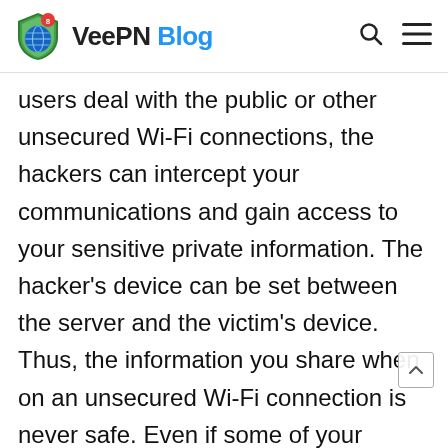VeePN Blog
users deal with the public or other unsecured Wi-Fi connections, the hackers can intercept your communications and gain access to your sensitive private information. The hacker's device can be set between the server and the victim's device. Thus, the information you share when on an unsecured Wi-Fi connection is never safe. Even if some of your private data is intercepted, hackers can try to break into your accounts. In such a case, VPN can be the best solution. The VeePN is a special protection to that allows preventing hackers' attacks when